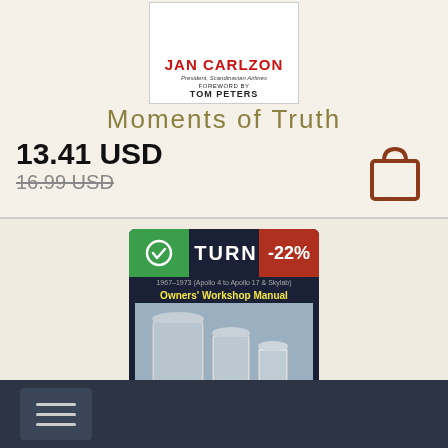[Figure (illustration): Book cover of 'Moments of Truth' by Jan Carlzon, President of Scandinavian Airlines, with Foreword by Tom Peters]
Moments of Truth
13.41 USD
16.99 USD
[Figure (illustration): Book cover of Saturn V Owners Workshop Manual 1967-1973 (Apollo 4 to Apollo 17 & Skylab) with -22% discount badge and green checkmark badge, showing cutaway illustrations of rocket stages]
[Figure (other): Navigation footer bar with hamburger menu icon]